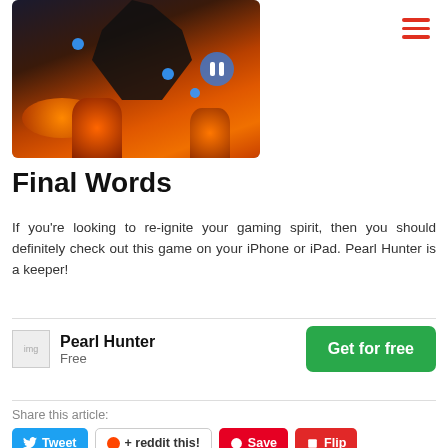[Figure (screenshot): Screenshot of Pearl Hunter game showing a dark creature silhouette over lava/fire landscape with blue gems and a pause button]
Final Words
If you’re looking to re-ignite your gaming spirit, then you should definitely check out this game on your iPhone or iPad. Pearl Hunter is a keeper!
| Pearl Hunter | Free | Get for free |
Share this article:
Tweet
reddit this!
Save
Flip